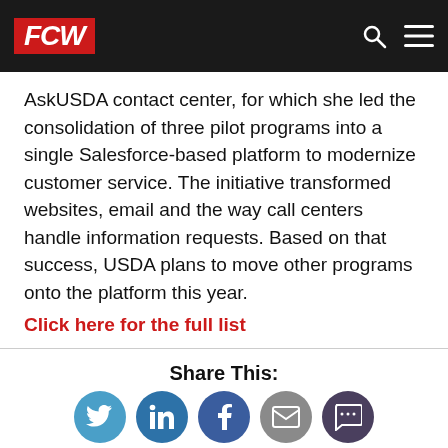FCW
AskUSDA contact center, for which she led the consolidation of three pilot programs into a single Salesforce-based platform to modernize customer service. The initiative transformed websites, email and the way call centers handle information requests. Based on that success, USDA plans to move other programs onto the platform this year.
Click here for the full list
Share This:
[Figure (infographic): Social sharing icons: Twitter (blue circle), LinkedIn (dark blue circle), Facebook (dark blue circle), Email (grey circle), Comment (dark purple circle)]
NEXT STORY: Quick Hits
[Figure (illustration): Three thumbnail images at the bottom of the page]